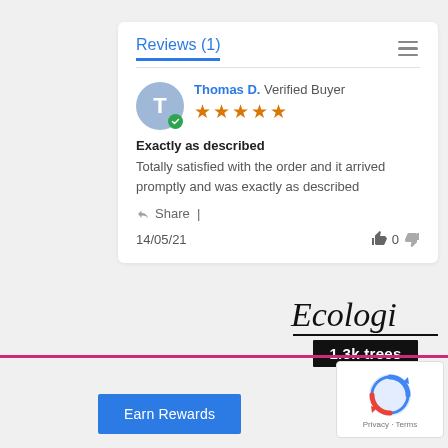Reviews (1)
Thomas D. Verified Buyer
[Figure (other): Five orange star rating icons]
Exactly as described
Totally satisfied with the order and it arrived promptly and was exactly as described
Share |
14/05/21
0
[Figure (logo): Ecologi logo with 1.3k trees badge]
Earn Rewards
[Figure (other): reCAPTCHA widget with Privacy and Terms links]